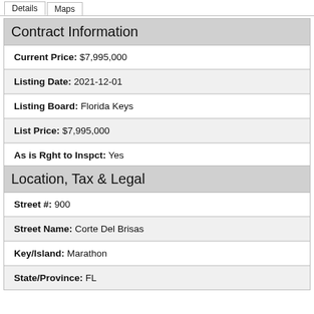Details | Maps
Contract Information
| Field | Value |
| --- | --- |
| Current Price: | $7,995,000 |
| Listing Date: | 2021-12-01 |
| Listing Board: | Florida Keys |
| List Price: | $7,995,000 |
| As is Rght to Inspct: | Yes |
Location, Tax & Legal
| Field | Value |
| --- | --- |
| Street #: | 900 |
| Street Name: | Corte Del Brisas |
| Key/Island: | Marathon |
| State/Province: | FL |